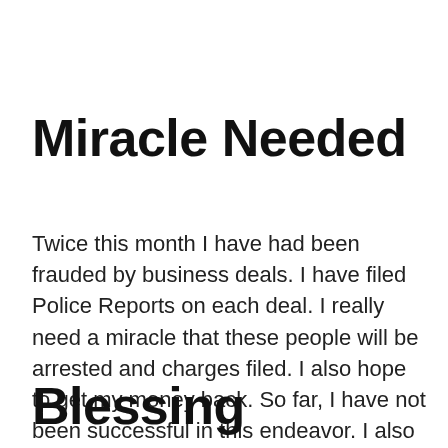Miracle Needed
Twice this month I have had been frauded by business deals. I have filed Police Reports on each deal. I really need a miracle that these people will be arrested and charges filed. I also hope to get my money back. So far, I have not been successful in this endeavor. I also want prayers … Continue reading
Blessing